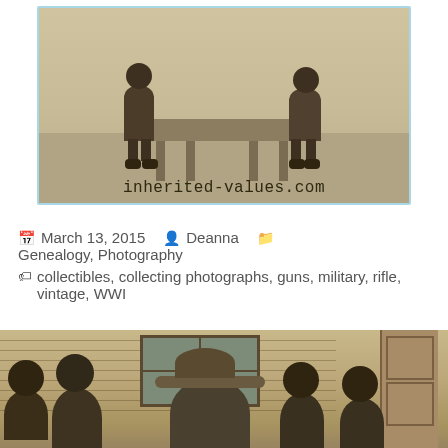[Figure (photo): Vintage black-and-white photograph showing children near a table outdoors, with watermark text 'inherited-values.com' at the bottom, framed with a light blue border]
March 13, 2015   Deanna   Genealogy, Photography
collectibles, collecting photographs, guns, military, rifle, vintage, WWI
[Figure (photo): Vintage sepia-toned photograph showing a group of children sitting outside in front of a house with horizontal siding and a window, with a door visible on the right side]